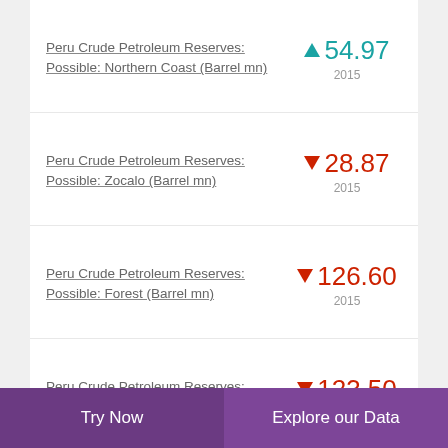Peru Crude Petroleum Reserves: Possible: Northern Coast (Barrel mn)
Peru Crude Petroleum Reserves: Possible: Zocalo (Barrel mn)
Peru Crude Petroleum Reserves: Possible: Forest (Barrel mn)
Peru Crude Petroleum Reserves: Possible: Forest: North (Barrel mn)
Try Now | Explore our Data